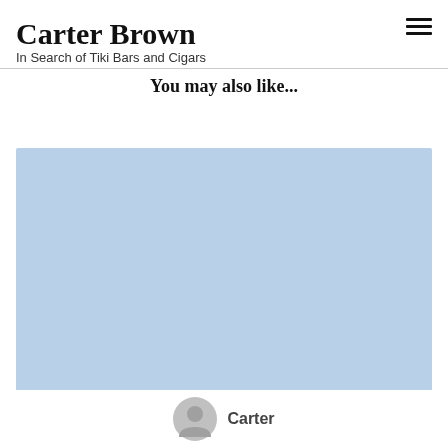Carter Brown
In Search of Tiki Bars and Cigars
You may also like...
[Figure (photo): Light blue rectangular image placeholder]
Carter